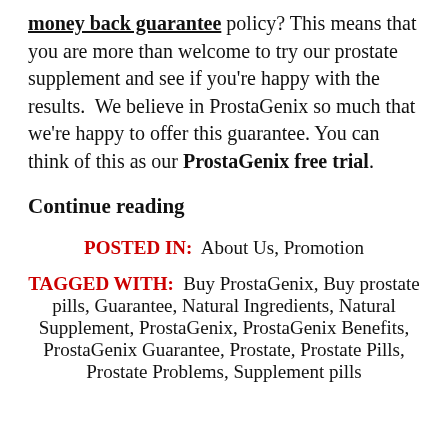money back guarantee policy? This means that you are more than welcome to try our prostate supplement and see if you're happy with the results.  We believe in ProstaGenix so much that we're happy to offer this guarantee. You can think of this as our ProstaGenix free trial.
Continue reading
POSTED IN:  About Us, Promotion
TAGGED WITH:  Buy ProstaGenix, Buy prostate pills, Guarantee, Natural Ingredients, Natural Supplement, ProstaGenix, ProstaGenix Benefits, ProstaGenix Guarantee, Prostate, Prostate Pills, Prostate Problems, Supplement pills